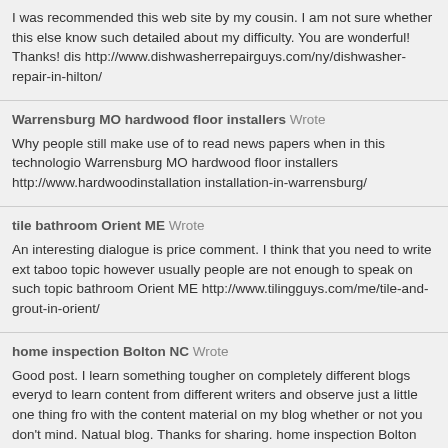I was recommended this web site by my cousin. I am not sure whether this else know such detailed about my difficulty. You are wonderful! Thanks! dis http://www.dishwasherrepairguys.com/ny/dishwasher-repair-in-hilton/
Warrensburg MO hardwood floor installers Wrote
Why people still make use of to read news papers when in this technologio Warrensburg MO hardwood floor installers http://www.hardwoodinstallation installation-in-warrensburg/
tile bathroom Orient ME Wrote
An interesting dialogue is price comment. I think that you need to write ext taboo topic however usually people are not enough to speak on such topic bathroom Orient ME http://www.tilingguys.com/me/tile-and-grout-in-orient/
home inspection Bolton NC Wrote
Good post. I learn something tougher on completely different blogs everyd to learn content from different writers and observe just a little one thing fro with the content material on my blog whether or not you don't mind. Natual blog. Thanks for sharing. home inspection Bolton NC http://www.homeinsp inspection-in-bolton/